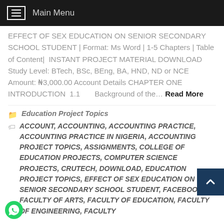Main Menu
EFFECT OF SEX EDUCATION ON SENIOR SECONDARY SCHOOL STUDENT | Format: Ms Word | 1-5 Chapters | Table of Content| INSTANT PROJECT MATERIAL DOWNLOAD Study Level: BTech, BSc, BEng, BA, HND, ND or NCE Amount: ₦3,000.00 Account Details CHAPTER ONE INTRODUCTION 1.1 Background of the… Read More
Education Project Topics
ACCOUNT, ACCOUNTING, ACCOUNTING PRACTICE, ACCOUNTING PRACTICE IN NIGERIA, ACCOUNTING PROJECT TOPICS, ASSIGNMENTS, COLLEGE OF EDUCATION PROJECTS, COMPUTER SCIENCE PROJECTS, CRUTECH, DOWNLOAD, EDUCATION PROJECT TOPICS, EFFECT OF SEX EDUCATION ON SENIOR SECONDARY SCHOOL STUDENT, FACEBOOK, FACULTY OF ARTS, FACULTY OF EDUCATION, FACULTY OF ENGINEERING, FACULTY